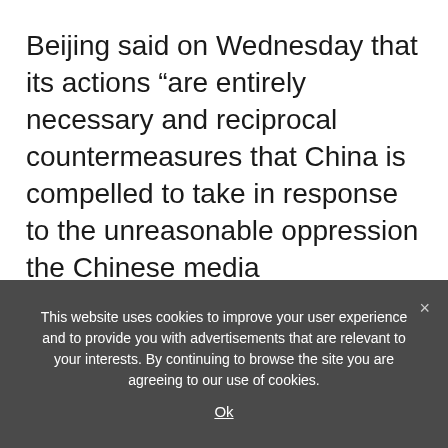Beijing said on Wednesday that its actions “are entirely necessary and reciprocal countermeasures that China is compelled to take in response to the unreasonable oppression the Chinese media organizations experience in the United States.”
Pompeo said he did not think Beijing’s latest move was a balanced response. “This isn’t
This website uses cookies to improve your user experience and to provide you with advertisements that are relevant to your interests. By continuing to browse the site you are agreeing to our use of cookies.
Ok